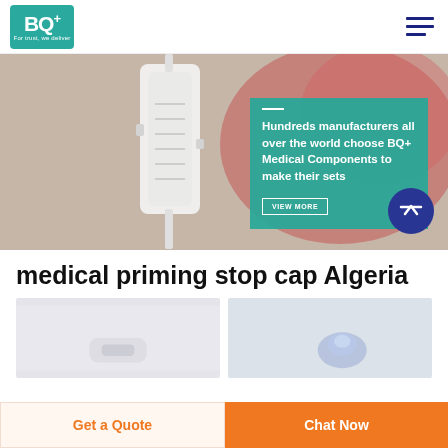[Figure (logo): BQ+ logo with teal background and tagline 'For trust, we deliver']
[Figure (photo): Close-up of a medical IV drip chamber/priming stop cap hanging, blurred red background]
Hundreds manufacturers all over the world choose BQ+ Medical Components to make their sets
medical priming stop cap Algeria
[Figure (photo): Medical priming stop cap product image on light grey background (left)]
[Figure (photo): Medical priming stop cap product image, blue translucent cap visible (right)]
Get a Quote
Chat Now